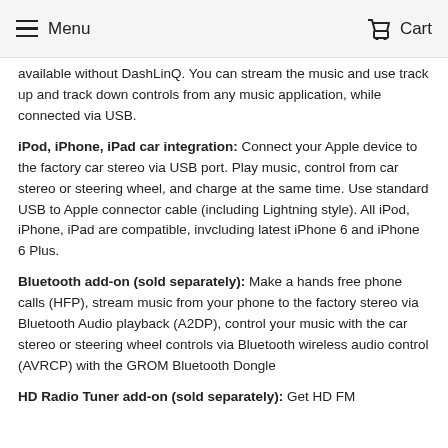Menu  Cart
available without DashLinQ. You can stream the music and use track up and track down controls from any music application, while connected via USB.
iPod, iPhone, iPad car integration: Connect your Apple device to the factory car stereo via USB port. Play music, control from car stereo or steering wheel, and charge at the same time. Use standard USB to Apple connector cable (including Lightning style). All iPod, iPhone, iPad are compatible, invcluding latest iPhone 6 and iPhone 6 Plus.
Bluetooth add-on (sold separately): Make a hands free phone calls (HFP), stream music from your phone to the factory stereo via Bluetooth Audio playback (A2DP), control your music with the car stereo or steering wheel controls via Bluetooth wireless audio control (AVRCP) with the GROM Bluetooth Dongle
HD Radio Tuner add-on (sold separately): Get HD FM